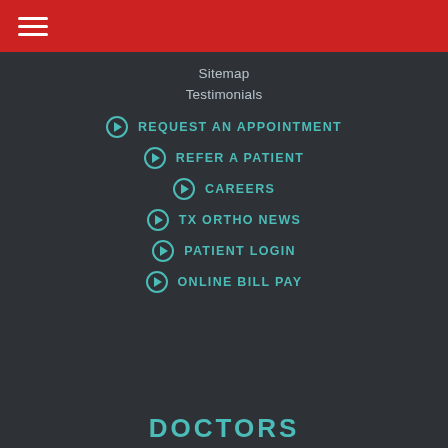☰ (menu icon)
Sitemap
Testimonials
➡ REQUEST AN APPOINTMENT
➡ REFER A PATIENT
➡ CAREERS
➡ TX ORTHO NEWS
➡ PATIENT LOGIN
➡ ONLINE BILL PAY
DOCTORS